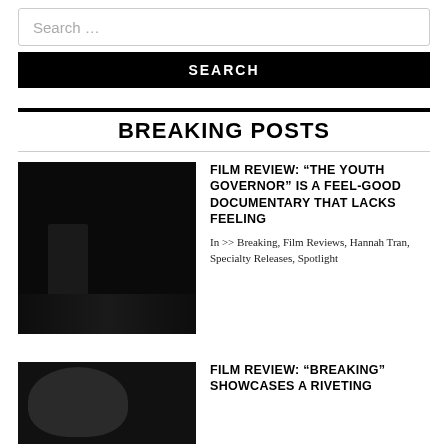Search …
SEARCH
BREAKING POSTS
[Figure (photo): A speaker at a podium on a dark stage with audience and screen in background]
FILM REVIEW: “THE YOUTH GOVERNOR” IS A FEEL-GOOD DOCUMENTARY THAT LACKS FEELING
In >> Breaking, Film Reviews, Hannah Tran, Specialty Releases, Spotlight
[Figure (photo): Close-up portrait of a man wearing glasses]
FILM REVIEW: “BREAKING” SHOWCASES A RIVETING